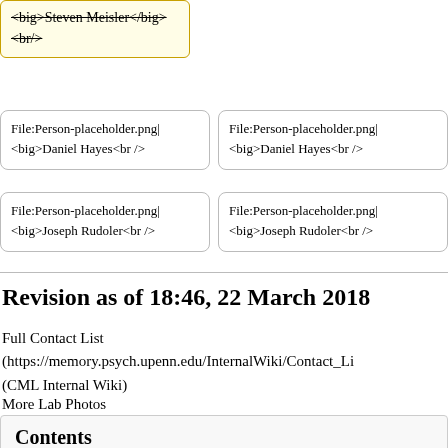<big>Steven Meisler</big>
<br/>
File:Person-placeholder.png|
<big>Daniel Hayes<br />
File:Person-placeholder.png|
<big>Daniel Hayes<br />
File:Person-placeholder.png|
<big>Joseph Rudoler<br />
File:Person-placeholder.png|
<big>Joseph Rudoler<br />
Revision as of 18:46, 22 March 2018
Full Contact List (https://memory.psych.upenn.edu/InternalWiki/Contact_Li (CML Internal Wiki)
More Lab Photos
Contents